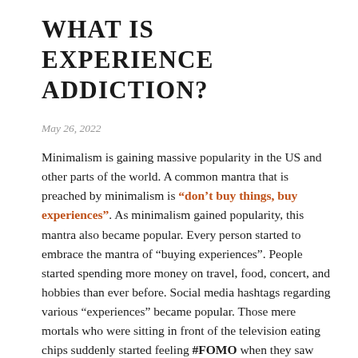WHAT IS EXPERIENCE ADDICTION?
May 26, 2022
Minimalism is gaining massive popularity in the US and other parts of the world. A common mantra that is preached by minimalism is “don’t buy things, buy experiences”. As minimalism gained popularity, this mantra also became popular. Every person started to embrace the mantra of “buying experiences”. People started spending more money on travel, food, concert, and hobbies than ever before. Social media hashtags regarding various “experiences” became popular. Those mere mortals who were sitting in front of the television eating chips suddenly started feeling #FOMO when they saw their friends posting photos of feeding an elephant